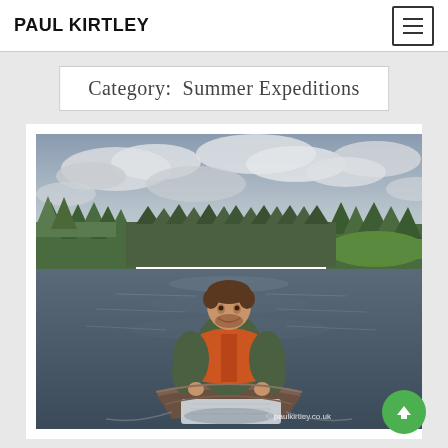PAUL KIRTLEY
Category:  Summer Expeditions
[Figure (photo): A man paddling a canoe on a calm river surrounded by boreal forest under a cloudy sky. He is wearing a green shirt and an orange life vest. The photo is watermarked with paulkirtley.co.uk]
© paulkirtley.co.uk